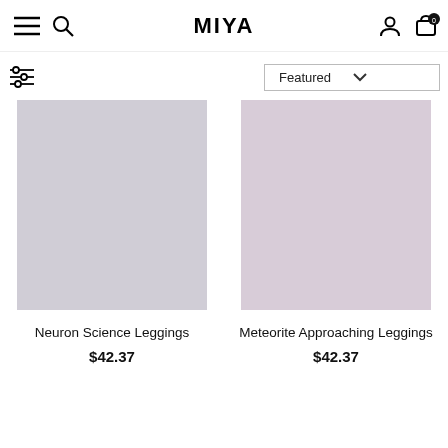MIYA
[Figure (screenshot): E-commerce product listing page for MIYA brand showing two legging products with images and prices]
Neuron Science Leggings
$42.37
Meteorite Approaching Leggings
$42.37